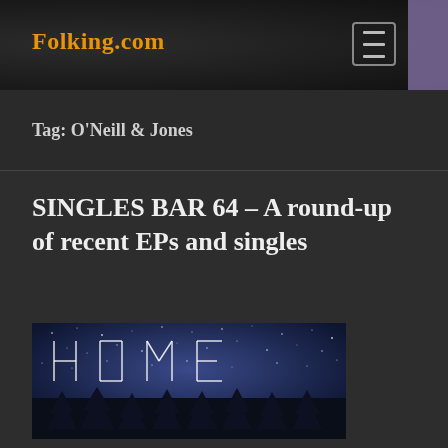Folking.com
Tag: O'Neill & Jones
SINGLES BAR 64 – A round-up of recent EPs and singles
[Figure (photo): Album cover showing the word HOME spelled out in constellation/star lines against a night sky with silhouetted pine trees at the bottom]